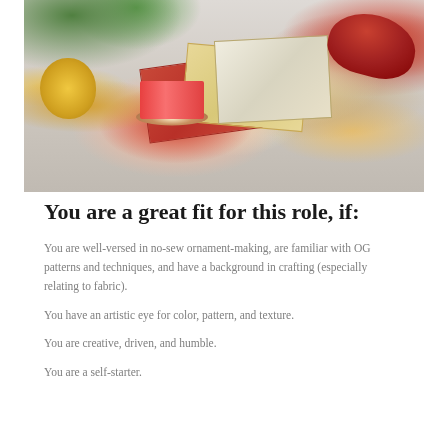[Figure (photo): Flat lay of Christmas crafting supplies including red and gold fabric pieces, a roll of red and white ribbon, gold scissors, gold pins and needles scattered on a white marble surface, with a decorative red ornament and green foliage in the background.]
You are a great fit for this role, if:
You are well-versed in no-sew ornament-making, are familiar with OG patterns and techniques, and have a background in crafting (especially relating to fabric).
You have an artistic eye for color, pattern, and texture.
You are creative, driven, and humble.
You are a self-starter.